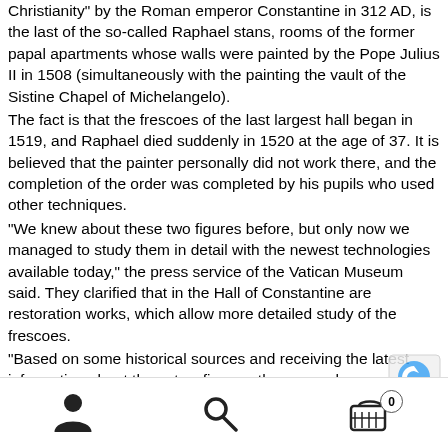Christianity" by the Roman emperor Constantine in 312 AD, is the last of the so-called Raphael stans, rooms of the former papal apartments whose walls were painted by the Pope Julius II in 1508 (simultaneously with the painting the vault of the Sistine Chapel of Michelangelo). The fact is that the frescoes of the last largest hall began in 1519, and Raphael died suddenly in 1520 at the age of 37. It is believed that the painter personally did not work there, and the completion of the order was completed by his pupils who used other techniques. “We knew about these two figures before, but only now we managed to study them in detail with the newest technologies available today,” the press service of the Vatican Museum said. They clarified that in the Hall of Constantine are restoration works, which allow more detailed study of the frescoes. “Based on some historical sources and receiving the latest information about these two figures, the researchers can assume that they were drawn by Raphael himself, but as it happens in such...
user icon | search icon | cart 0